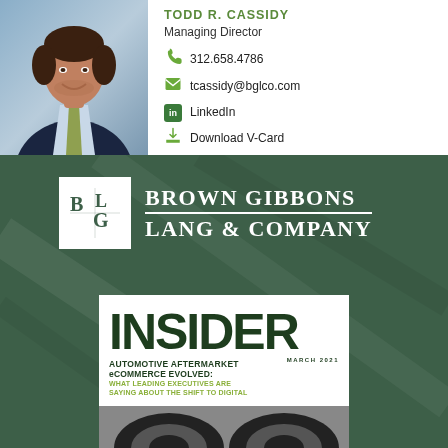[Figure (photo): Professional headshot of Todd R. Cassidy, Managing Director, smiling man in dark suit with light blue shirt and green tie, light blue background]
TODD R. CASSIDY
Managing Director
312.658.4786
tcassidy@bglco.com
LinkedIn
Download V-Card
[Figure (logo): Brown Gibbons Lang & Company logo with BGL monogram in white square on dark green background]
[Figure (photo): INSIDER magazine cover - Automotive Aftermarket eCommerce Evolved: What Leading Executives Are Saying About The Shift To Digital, March 2021]